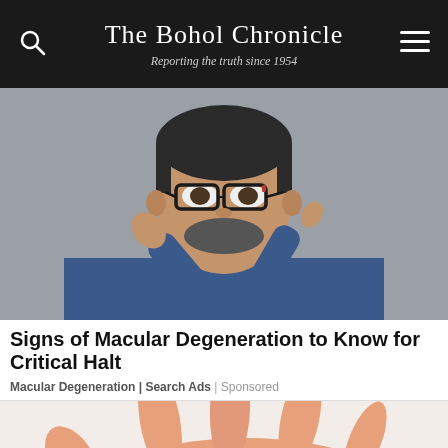The Bohol Chronicle — Reporting the truth since 1954
[Figure (photo): Man in blue denim shirt holding glasses near his eye and pointing at it, against a gray background.]
Signs of Macular Degeneration to Know for Critical Halt
Macular Degeneration | Search Ads | Sponsored
[Figure (photo): Close-up of a person's hand palm-up with reddish skin, against a light background.]